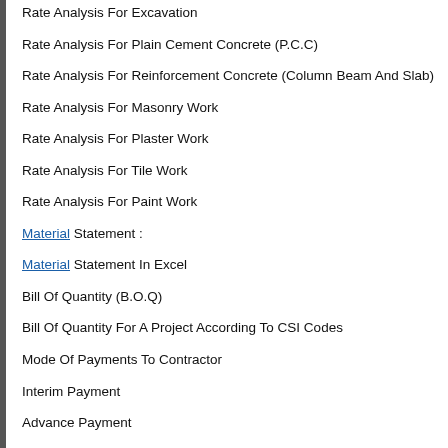Rate Analysis For Excavation
Rate Analysis For Plain Cement Concrete (P.C.C)
Rate Analysis For Reinforcement Concrete (Column Beam And Slab)
Rate Analysis For Masonry Work
Rate Analysis For Plaster Work
Rate Analysis For Tile Work
Rate Analysis For Paint Work
Material Statement :
Material Statement In Excel
Bill Of Quantity (B.O.Q)
Bill Of Quantity For A Project According To CSI Codes
Mode Of Payments To Contractor
Interim Payment
Advance Payment